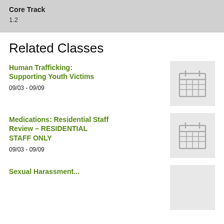Core Track
1.2
Related Classes
Human Trafficking: Supporting Youth Victims
09/03 - 09/09
[Figure (illustration): Calendar icon placeholder thumbnail]
Medications: Residential Staff Review – RESIDENTIAL STAFF ONLY
09/03 - 09/09
[Figure (illustration): Calendar icon placeholder thumbnail]
Sexual Harassment...